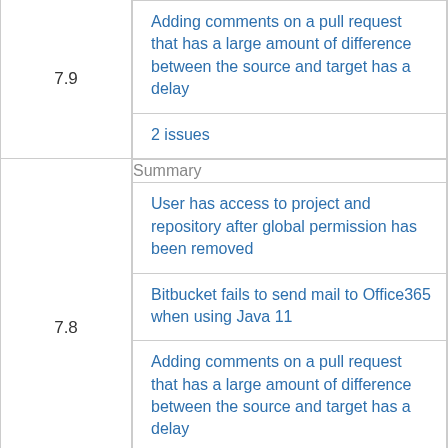| Version | Content |
| --- | --- |
| 7.9 | Adding comments on a pull request that has a large amount of difference between the source and target has a delay |
| 7.9 | 2 issues |
| 7.8 | Summary |
| 7.8 | User has access to project and repository after global permission has been removed |
| 7.8 | Bitbucket fails to send mail to Office365 when using Java 11 |
| 7.8 | Adding comments on a pull request that has a large amount of difference between the source and target has a delay |
| 7.8 | 3 issues |